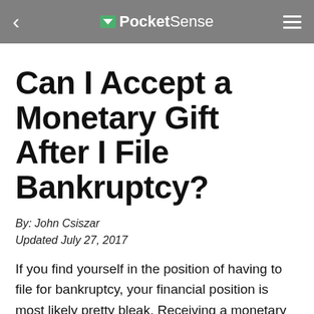PocketSense
Can I Accept a Monetary Gift After I File Bankruptcy?
By: John Csiszar
Updated July 27, 2017
If you find yourself in the position of having to file for bankruptcy, your financial position is most likely pretty bleak. Receiving a monetary gift after you file bankruptcy may